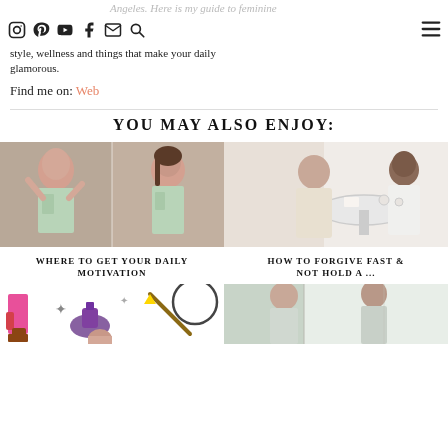Angeles. Here is my guide to feminine style, wellness and things that make your daily glamorous.
Find me on: Web
YOU MAY ALSO ENJOY:
[Figure (photo): Two women in mint/sage green outfits posing in a mirror]
WHERE TO GET YOUR DAILY MOTIVATION
[Figure (photo): Two people sitting at a round white table in a bright room]
HOW TO FORGIVE FAST & NOT HOLD A ...
[Figure (illustration): Illustration with magical items including potions and a wand]
[Figure (photo): Women in light-colored dresses standing by a window]